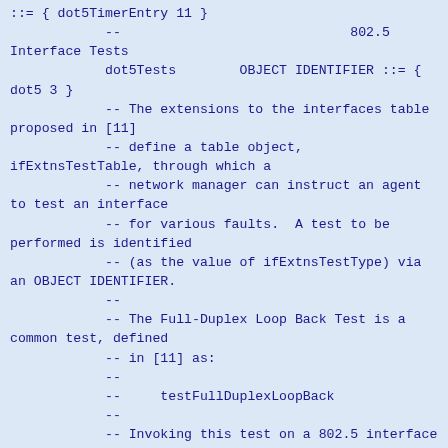::= { dot5TimerEntry 11 }
            --                             802.5 Interface Tests
            dot5Tests        OBJECT IDENTIFIER ::= { dot5 3 }
            -- The extensions to the interfaces table proposed in [11]
            -- define a table object, ifExtnsTestTable, through which a
            -- network manager can instruct an agent to test an interface
            -- for various faults.  A test to be performed is identified
            -- (as the value of ifExtnsTestType) via an OBJECT IDENTIFIER.
            --
            -- The Full-Duplex Loop Back Test is a common test, defined
            -- in [11] as:
            --
            --     testFullDuplexLoopBack
            --
            -- Invoking this test on a 802.5 interface causes the
            -- interface to check the path from memory through the
            -- chip set's internal logic and back to memory, thus
            -- checking the proper functioning of the systems's